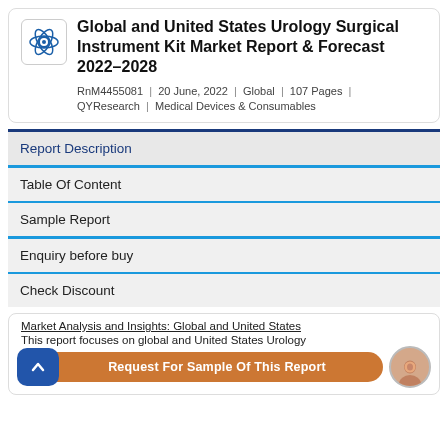Global and United States Urology Surgical Instrument Kit Market Report & Forecast 2022-2028
RnM4455081 | 20 June, 2022 | Global | 107 Pages | QYResearch | Medical Devices & Consumables
Report Description
Table Of Content
Sample Report
Enquiry before buy
Check Discount
Market Analysis and Insights: Global and United States
This report focuses on global and United States Urology
Request For Sample Of This Report